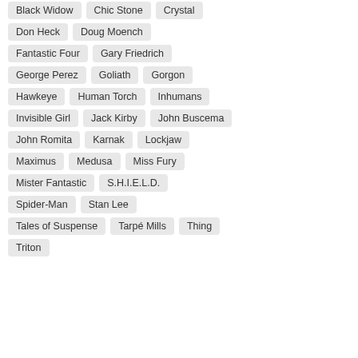Black Widow
Chic Stone
Crystal
Don Heck
Doug Moench
Fantastic Four
Gary Friedrich
George Perez
Goliath
Gorgon
Hawkeye
Human Torch
Inhumans
Invisible Girl
Jack Kirby
John Buscema
John Romita
Karnak
Lockjaw
Maximus
Medusa
Miss Fury
Mister Fantastic
S.H.I.E.L.D.
Spider-Man
Stan Lee
Tales of Suspense
Tarpé Mills
Thing
Triton